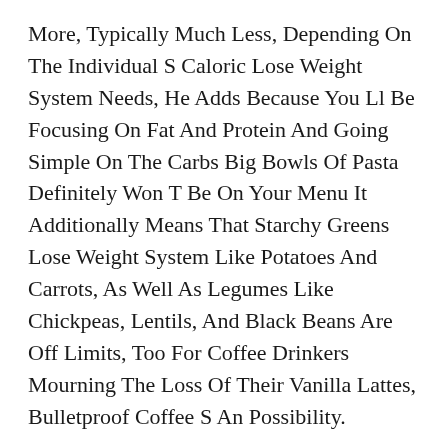More, Typically Much Less, Depending On The Individual S Caloric Lose Weight System Needs, He Adds Because You Ll Be Focusing On Fat And Protein And Going Simple On The Carbs Big Bowls Of Pasta Definitely Won T Be On Your Menu It Additionally Means That Starchy Greens Lose Weight System Like Potatoes And Carrots, As Well As Legumes Like Chickpeas, Lentils, And Black Beans Are Off Limits, Too For Coffee Drinkers Mourning The Loss Of Their Vanilla Lattes, Bulletproof Coffee S An Possibility.
You Ll Be Stunned What Number Of Advantages You Get From Dwelling A Low Carb Way Of Life Be Certain To Read Our Low Carb Food List For A Complete Listing Of Meals You Must Eat And Which You Should Keep Away From Entering Ketosis Often Takes Anywhere From Three Days To Per Week Once You Re In Ketosis, You Ll Be Utilizing Fat For Energy Instead Of Carbs Your A...